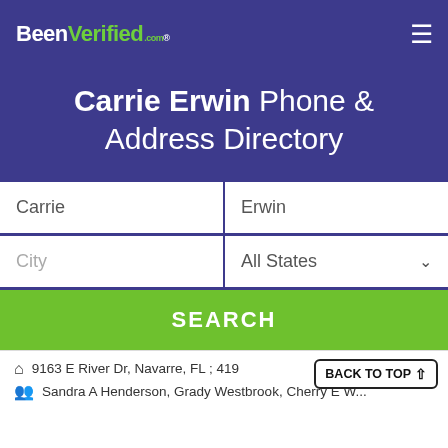BeenVerified.com
Carrie Erwin Phone & Address Directory
Carrie | Erwin | City | All States | SEARCH
9163 E River Dr, Navarre, FL ; 419... | Sandra A Henderson, Grady Westbrook, Cherry E W...
BACK TO TOP ↑